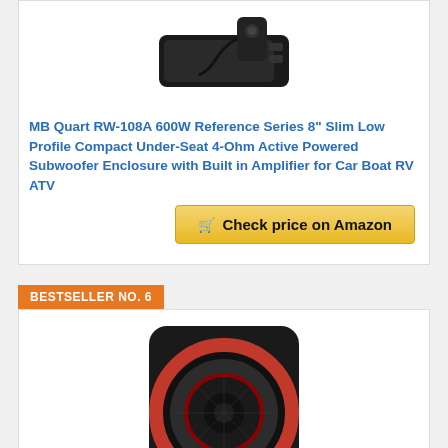[Figure (photo): MB Quart RW-108A subwoofer device with remote control, top view on white background]
MB Quart RW-108A 600W Reference Series 8" Slim Low Profile Compact Under-Seat 4-Ohm Active Powered Subwoofer Enclosure with Built in Amplifier for Car Boat RV ATV
Check price on Amazon
BESTSELLER NO. 6
[Figure (photo): Under-seat subwoofer enclosure with round speaker visible, red ring accent, black housing, angled view]